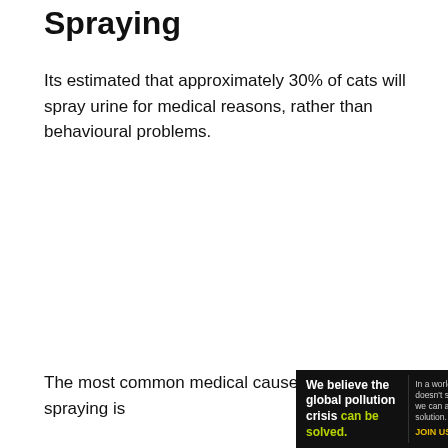Spraying
Its estimated that approximately 30% of cats will spray urine for medical reasons, rather than behavioural problems.
The most common medical cause of urine spraying is
[Figure (screenshot): Advertisement banner for Pure Earth organization. Black background. Left section says 'We believe the global pollution crisis can be solved.' with 'can be solved.' in green/yellow. Middle section says 'In a world where pollution doesn't stop at borders, we can all be part of the solution. JOIN US.' Right section shows Pure Earth logo (diamond shape with arrow) and text 'PURE EARTH'.]